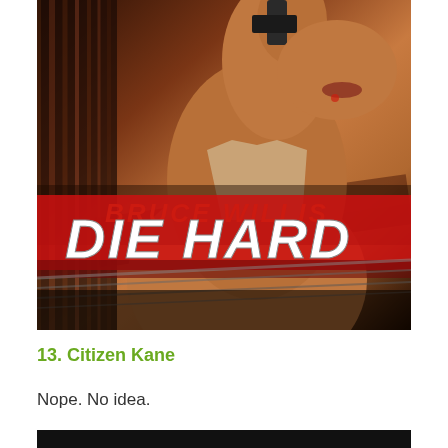[Figure (photo): Movie poster for Die Hard featuring Bruce Willis holding a gun, shirtless, with large red and white text reading 'BRUCE WILLIS' and 'DIE HARD' over a dramatic action background with diagonal architectural elements]
13. Citizen Kane
Nope. No idea.